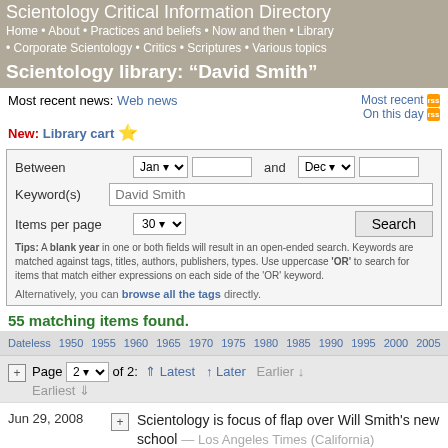Scientology Critical Information Directory
Home • About • Practices and beliefs • Now and then • Library • Corporate Scientology • Critics • Scriptures • Various topics
Scientology library: "David Smith"
Most recent news: Web news   Most recent  On this day
New: Library cart ⭐
Between Jan and Dec  Keyword(s) David Smith  Items per page 30  Search
Tips: A blank year in one or both fields will result in an open-ended search. Keywords are matched against tags, titles, authors, publishers, types. Use uppercase 'OR' to search for items that match either expressions on each side of the 'OR' keyword.
Alternatively, you can browse all the tags directly.
55 matching items found.
Dateless  1950  1955  1960  1965  1970  1975  1980  1985  1990  1995  2000  2005  2010
Page 2 of 2: ⇑ Latest  ↑ Later  Earlier ↓  Earliest ⇓
Jun 29, 2008 — Scientology is focus of flap over Will Smith's new school — Los Angeles Times (California)
May 25, 2008 — Dr. David S. Touretzky, Mark Ebner interview on Glosslip — Glosslip
May 23, 2008 — Church of Scientology sold, will be converted to home — Memphis Daily News